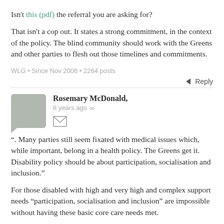Isn't this (pdf) the referral you are asking for?
That isn't a cop out. It states a strong commitment, in the context of the policy. The blind community should work with the Greens and other parties to flesh out those timelines and commitments.
WLG • Since Nov 2006 • 2264 posts
Reply
Rosemary McDonald, 8 years ago
". Many parties still seem fixated with medical issues which, while important, belong in a health policy. The Greens get it. Disability policy should be about participation, socialisation and inclusion."
For those disabled with high and very high and complex support needs “participation, socialisation and inclusion” are impossible without having these basic core care needs met.
Those disabled with high and very high support